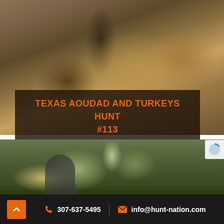[Figure (photo): Hunter posing with a harvested aoudad (Barbary sheep) with large curved horns, a rifle visible, rocky desert terrain background]
TEXAS AOUDAD AND TURKEYS HUNT #113
[Figure (photo): Two hunters (one in cap, one in camouflage) posing outdoors with green vegetation and cacti in background]
307-637-5495  |  info@hunt-nation.com